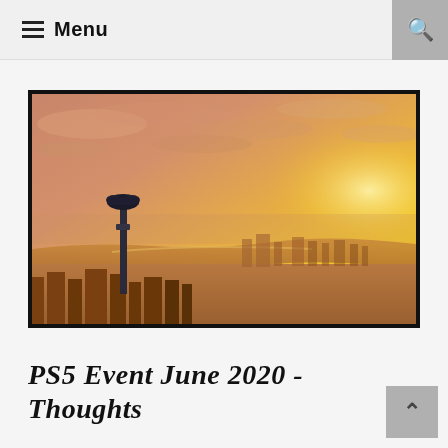≡ Menu
[Figure (photo): Aerial cityscape photograph at golden hour/sunset showing a river winding through a city with skyscrapers, warm orange and yellow tones in the sky, with a coin-operated binocular viewer in the foreground on the left side.]
PS5 Event June 2020 - Thoughts